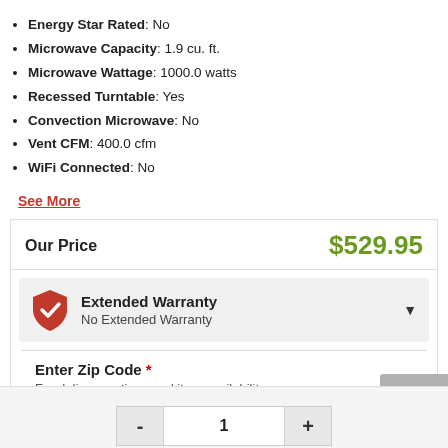Energy Star Rated: No
Microwave Capacity: 1.9 cu. ft.
Microwave Wattage: 1000.0 watts
Recessed Turntable: Yes
Convection Microwave: No
Vent CFM: 400.0 cfm
WiFi Connected: No
See More
| Our Price | $529.95 |
| --- | --- |
Extended Warranty
No Extended Warranty
Enter Zip Code *
For delivery options and item availability.